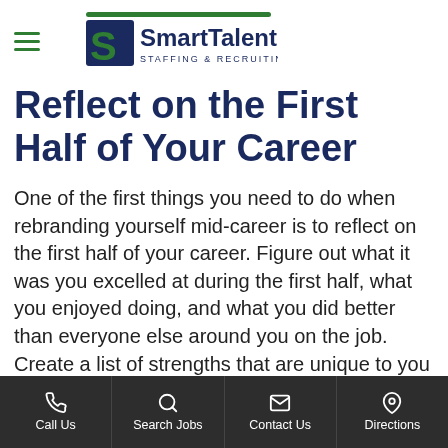[Figure (logo): SmartTalent Staffing & Recruiting logo with green S icon and dark navy text]
Reflect on the First Half of Your Career
One of the first things you need to do when rebranding yourself mid-career is to reflect on the first half of your career. Figure out what it was you excelled at during the first half, what you enjoyed doing, and what you did better than everyone else around you on the job. Create a list of strengths that are unique to you and use them to rebrand yourself online.
Call Us | Search Jobs | Contact Us | Directions